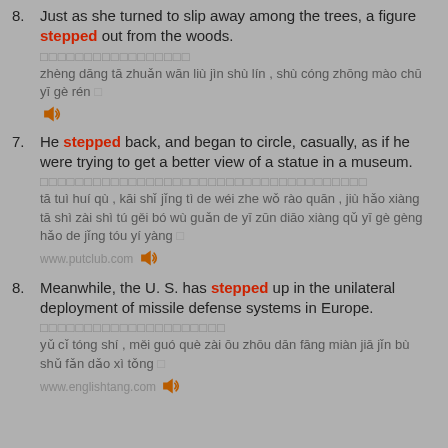8. Just as she turned to slip away among the trees, a figure stepped out from the woods.
□□□□□□□□□□□□□□□□□
zhèng dāng tā zhuǎn wān liù jìn shù lín , shù cóng zhōng mào chū yī gè rén □
7. He stepped back, and began to circle, casually, as if he were trying to get a better view of a statue in a museum.
□□□□□□□□□□□□□□□□□□□□□□□□□□□□□□□□□□□□□
tā tuì huí qù , kāi shǐ jǐng tì de wéi zhe wǒ rào quān , jiù hǎo xiàng tā shì zài shì tú gěi bó wù guǎn de yī zūn diāo xiàng qǔ yī gè gèng hǎo de jǐng tóu yí yàng □
www.putclub.com
8. Meanwhile, the U. S. has stepped up in the unilateral deployment of missile defense systems in Europe.
□□□□□□□□□□□□□□□□□□□□□
yǔ cǐ tóng shí , měi guó què zài ōu zhōu dān fāng miàn jiā jǐn bù shǔ fǎn dǎo xì tǒng □
www.englishtang.com